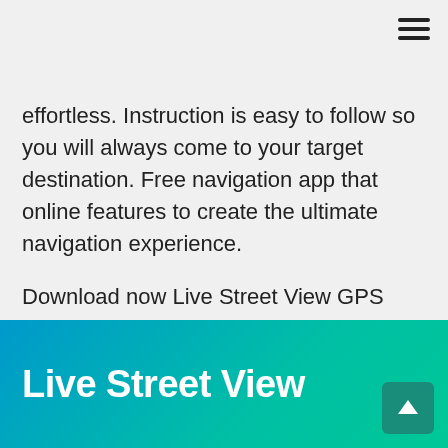effortless. Instruction is easy to follow so you will always come to your target destination. Free navigation app that online features to create the ultimate navigation experience.

Download now Live Street View GPS Map Travel Navigation and get news of every single street from worldwide...!!!
Live Street View